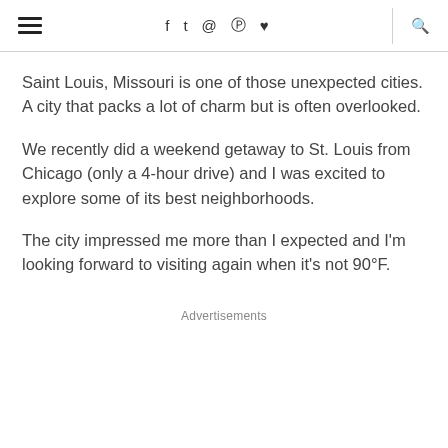≡ f t @ ® ♥ 🔍
Saint Louis, Missouri is one of those unexpected cities. A city that packs a lot of charm but is often overlooked.
We recently did a weekend getaway to St. Louis from Chicago (only a 4-hour drive) and I was excited to explore some of its best neighborhoods.
The city impressed me more than I expected and I'm looking forward to visiting again when it's not 90°F.
Advertisements